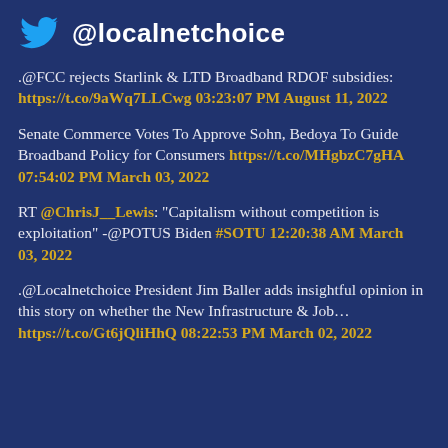@localnetchoice
.@FCC rejects Starlink & LTD Broadband RDOF subsidies: https://t.co/9aWq7LLCwg 03:23:07 PM August 11, 2022
Senate Commerce Votes To Approve Sohn, Bedoya To Guide Broadband Policy for Consumers https://t.co/MHgbzC7gHA 07:54:02 PM March 03, 2022
RT @ChrisJ__Lewis: "Capitalism without competition is exploitation" -@POTUS Biden #SOTU 12:20:38 AM March 03, 2022
.@Localnetchoice President Jim Baller adds insightful opinion in this story on whether the New Infrastructure & Job... https://t.co/Gt6jQliHhQ 08:22:53 PM March 02, 2022